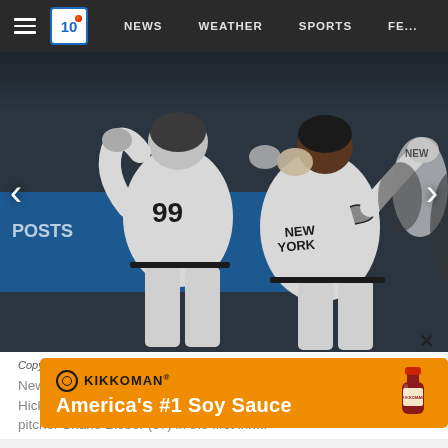NEWS   WEATHER   SPORTS   FE...
[Figure (photo): New York Yankees players Aaron Judge (#99) and Aaron Hicks celebrating with a high-five after a home run, both wearing grey away uniforms, at an indoor ballpark.]
Copyright 2020 The Associated Press. All Rights Reserved
New York Yankees' Aaron Judge (99) is congratulated by Aaron Hicks after hitting a two-run home run off Cleveland Indians starting pitcher Shane Bieber (57) in the first inn...
[Figure (other): Kikkoman advertisement banner: America's #1 Soy Sauce]